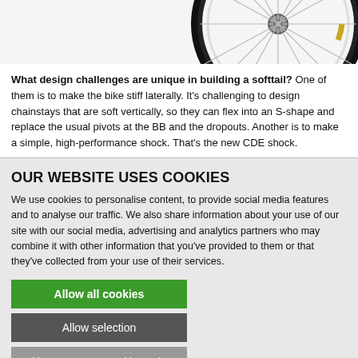[Figure (photo): Partial bicycle wheel visible at top right, white background]
What design challenges are unique in building a softtail? One of them is to make the bike stiff laterally. It's challenging to design chainstays that are soft vertically, so they can flex into an S-shape and replace the usual pivots at the BB and the dropouts. Another is to make a simple, high-performance shock. That's the new CDE shock.
OUR WEBSITE USES COOKIES
We use cookies to personalise content, to provide social media features and to analyse our traffic. We also share information about your use of our site with our social media, advertising and analytics partners who may combine it with other information that you've provided to them or that they've collected from your use of their services.
Allow all cookies
Allow selection
Use necessary cookies only
Necessary  Preferences  Statistics  Marketing  Show details